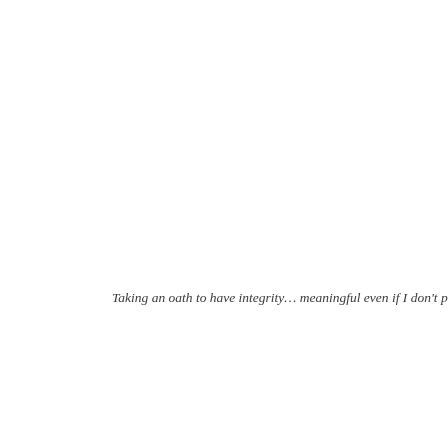Taking an oath to have integrity… meaningful even if I don't p